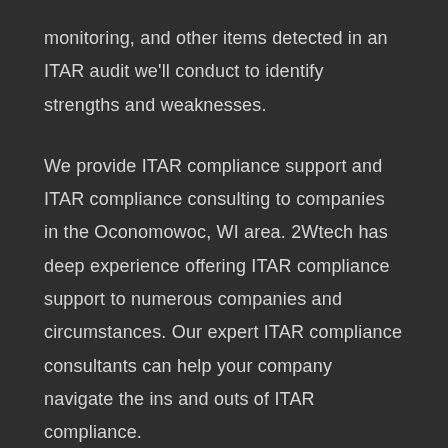monitoring, and other items detected in an ITAR audit we'll conduct to identify strengths and weaknesses.
We provide ITAR compliance support and ITAR compliance consulting to companies in the Oconomowoc, WI area. 2Wtech has deep experience offering ITAR compliance support to numerous companies and circumstances. Our expert ITAR compliance consultants can help your company navigate the ins and outs of ITAR compliance.